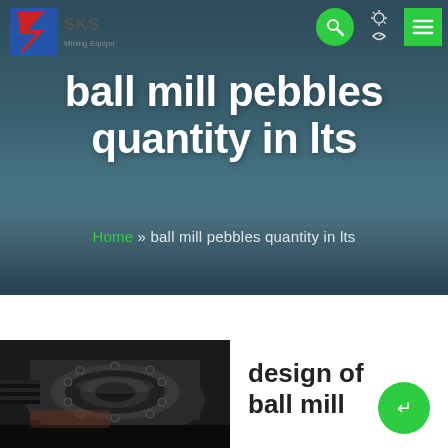[Figure (screenshot): SKS company logo with red lightning bolt S on blue/red background and grey SKS text]
ball mill pebbles quantity in lts
Home » ball mill pebbles quantity in lts
[Figure (photo): Close-up industrial photo of ball mill mechanical components, dark metal parts with bolts and cylindrical housing]
design of ball mill